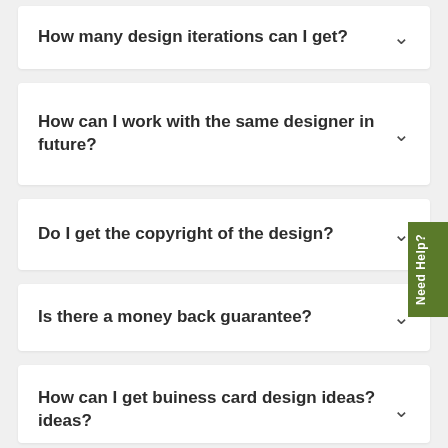How many design iterations can I get?
How can I work with the same designer in future?
Do I get the copyright of the design?
Is there a money back guarantee?
How can I get buiness card design ideas?